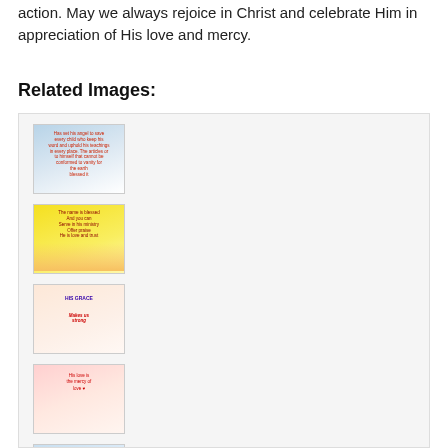action. May we always rejoice in Christ and celebrate Him in appreciation of His love and mercy.
Related Images:
[Figure (illustration): Thumbnail image 1: blue sky background with red devotional text]
[Figure (illustration): Thumbnail image 2: yellow background with dark red devotional text and figures at bottom]
[Figure (illustration): Thumbnail image 3: peach background with blue bold text 'HIS GRACE Makes us strong' in red italic]
[Figure (illustration): Thumbnail image 4: pink/peach background with red text about His love]
[Figure (illustration): Thumbnail image 5 (partial): blue background devotional image]